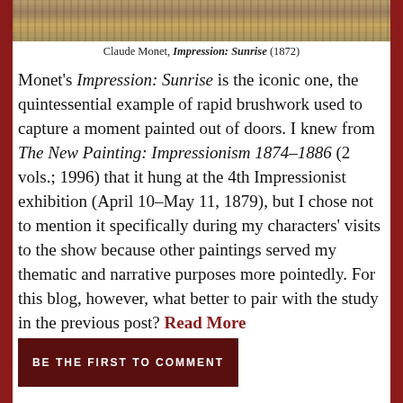[Figure (photo): Top portion of a Claude Monet painting showing Impression: Sunrise, with warm orange and brown brushwork tones]
Claude Monet, Impression: Sunrise (1872)
Monet's Impression: Sunrise is the iconic one, the quintessential example of rapid brushwork used to capture a moment painted out of doors. I knew from The New Painting: Impressionism 1874–1886 (2 vols.; 1996) that it hung at the 4th Impressionist exhibition (April 10–May 11, 1879), but I chose not to mention it specifically during my characters' visits to the show because other paintings served my thematic and narrative purposes more pointedly. For this blog, however, what better to pair with the study in the previous post? Read More
BE THE FIRST TO COMMENT